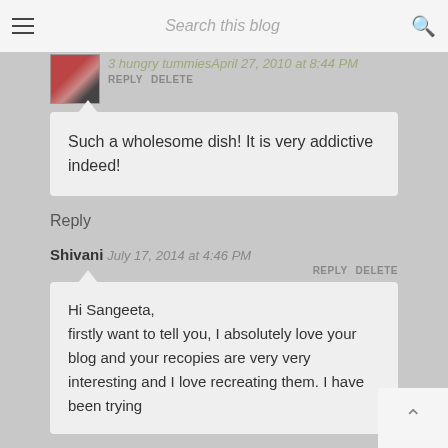Search this blog
3 hungry tummies April 27, 2010 at 8:44 PM
REPLY   DELETE
Such a wholesome dish! It is very addictive indeed!
Reply
Shivani July 17, 2014 at 4:46 PM
REPLY   DELETE
Hi Sangeeta,
firstly want to tell you, I absolutely love your blog and your recopies are very very interesting and I love recreating them. I have been trying